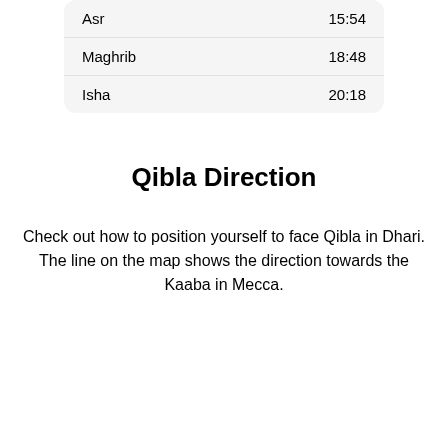| Asr | 15:54 |
| Maghrib | 18:48 |
| Isha | 20:18 |
Qibla Direction
Check out how to position yourself to face Qibla in Dhari. The line on the map shows the direction towards the Kaaba in Mecca.